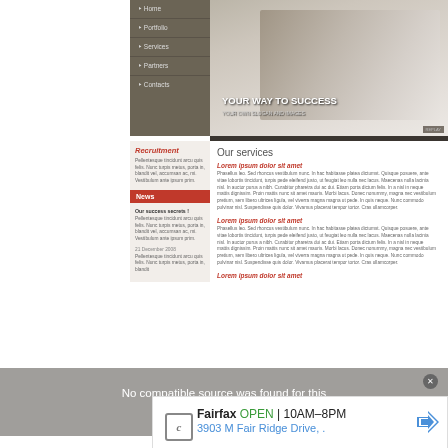[Figure (screenshot): Website screenshot showing navigation sidebar with Home, Portfolio, Services, Partners, Contacts links; hero image of business professionals with text YOUR WAY TO SUCCESS; recruitment section; news section; Our services section with Lorem ipsum content]
No compatible source was found for this media.
[Figure (infographic): Advertisement banner: Fairfax OPEN 10AM-8PM | 3903 M Fair Ridge Drive, with navigation arrow icon and Google Maps style logo]